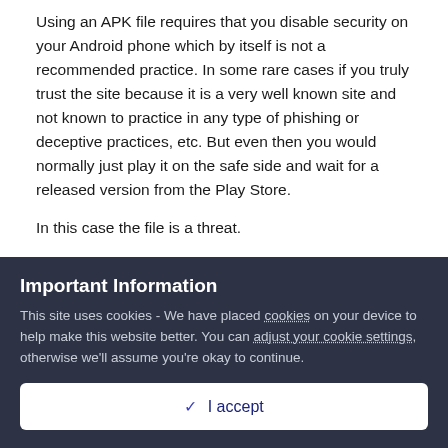Using an APK file requires that you disable security on your Android phone which by itself is not a recommended practice. In some rare cases if you truly trust the site because it is a very well known site and not known to practice in any type of phishing or deceptive practices, etc. But even then you would normally just play it on the safe side and wait for a released version from the Play Store.
In this case the file is a threat.
https://www.virustotal.com/gui/file/152622eae877b4a6f7db366c96ea497c5e1e56f2739b5c7a72a5373d56d5849c?nocache=1
Windows Defender on a local computer also flags it as a Trojan.
Important Information
This site uses cookies - We have placed cookies on your device to help make this website better. You can adjust your cookie settings, otherwise we'll assume you're okay to continue.
✓ I accept